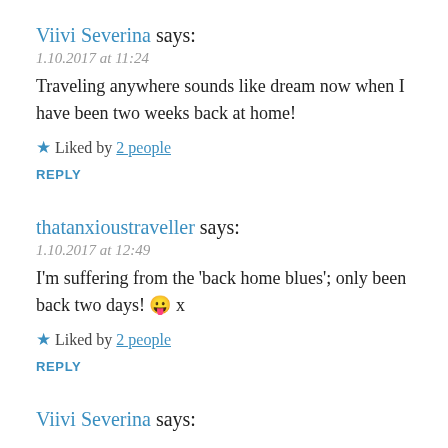Viivi Severina says:
1.10.2017 at 11:24
Traveling anywhere sounds like dream now when I have been two weeks back at home!
★ Liked by 2 people
REPLY
thatanxioustraveller says:
1.10.2017 at 12:49
I'm suffering from the 'back home blues'; only been back two days! 😛 x
★ Liked by 2 people
REPLY
Viivi Severina says: